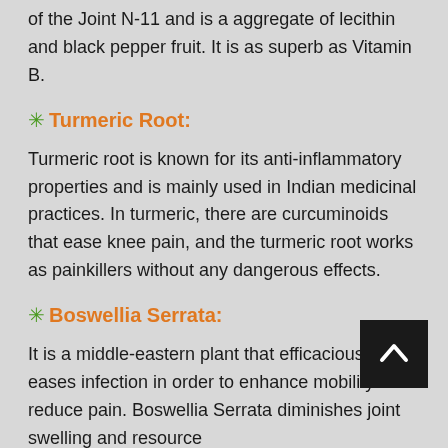of the Joint N-11 and is a aggregate of lecithin and black pepper fruit. It is as superb as Vitamin B.
✳ Turmeric Root:
Turmeric root is known for its anti-inflammatory properties and is mainly used in Indian medicinal practices. In turmeric, there are curcuminoids that ease knee pain, and the turmeric root works as painkillers without any dangerous effects.
✳ Boswellia Serrata:
It is a middle-eastern plant that efficaciously eases infection in order to enhance mobility and reduce pain. Boswellia Serrata diminishes joint swelling and resource